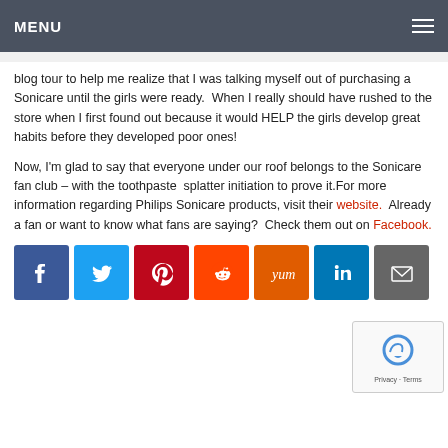MENU
blog tour to help me realize that I was talking myself out of purchasing a Sonicare until the girls were ready.  When I really should have rushed to the store when I first found out because it would HELP the girls develop great habits before they developed poor ones!
Now, I'm glad to say that everyone under our roof belongs to the Sonicare fan club – with the toothpaste  splatter initiation to prove it.For more information regarding Philips Sonicare products, visit their website.  Already a fan or want to know what fans are saying?  Check them out on Facebook.
[Figure (infographic): Social sharing icons: Facebook, Twitter, Pinterest, Reddit, Yummly, LinkedIn, Email]